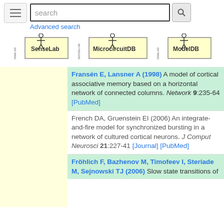search [search button] Advanced search
[Figure (logo): SenseLab logo]
[Figure (logo): MicrocircuitDB logo]
[Figure (logo): ModelDB logo]
Fransén E, Lansner A (1998) A model of cortical associative memory based on a horizontal network of connected columns. Network 9:235-64 [PubMed]
French DA, Gruenstein EI (2006) An integrate-and-fire model for synchronized bursting in a network of cultured cortical neurons. J Comput Neurosci 21:227-41 [Journal] [PubMed]
Fröhlich F, Bazhenov M, Timofeev I, Steriade M, Sejnowski TJ (2006) Slow state transitions of